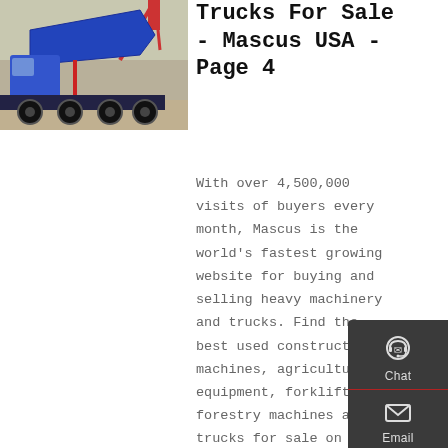[Figure (photo): Blue dump truck with raised bed, parked outdoors with a crane visible behind it.]
Trucks For Sale - Mascus USA - Page 4
With over 4,500,000 visits of buyers every month, Mascus is the world's fastest growing website for buying and selling heavy machinery and trucks. Find the best used construction machines, agricultural equipment, forklifts, forestry machines and trucks for sale on